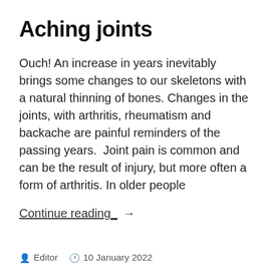Aching joints
Ouch! An increase in years inevitably brings some changes to our skeletons with a natural thinning of bones. Changes in the joints, with arthritis, rheumatism and backache are painful reminders of the passing years.  Joint pain is common and can be the result of injury, but more often a form of arthritis. In older people
Continue reading  →
Editor  10 January 2022  Anti-Inflammatory, Blogs, Factsheets, Joint Health